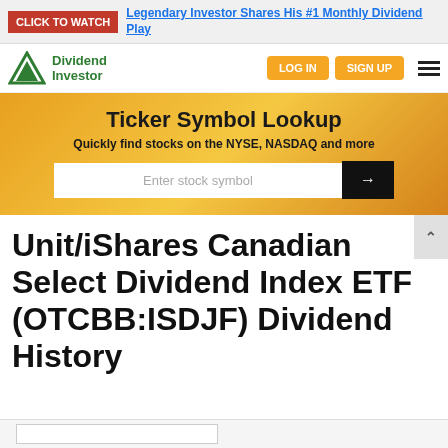CLICK TO WATCH — Legendary Investor Shares His #1 Monthly Dividend Play
[Figure (logo): Dividend Investor logo with green triangle icon and green text]
LOG IN  SIGN UP
[Figure (screenshot): Ticker Symbol Lookup search banner with orange/gold background. Text: Ticker Symbol Lookup. Quickly find stocks on the NYSE, NASDAQ and more. Input: Enter stock symbol with search button.]
Unit/iShares Canadian Select Dividend Index ETF (OTCBB:ISDJF) Dividend History